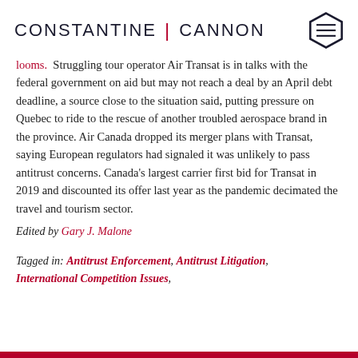CONSTANTINE | CANNON
looms.  Struggling tour operator Air Transat is in talks with the federal government on aid but may not reach a deal by an April debt deadline, a source close to the situation said, putting pressure on Quebec to ride to the rescue of another troubled aerospace brand in the province. Air Canada dropped its merger plans with Transat, saying European regulators had signaled it was unlikely to pass antitrust concerns. Canada's largest carrier first bid for Transat in 2019 and discounted its offer last year as the pandemic decimated the travel and tourism sector.
Edited by Gary J. Malone
Tagged in: Antitrust Enforcement, Antitrust Litigation, International Competition Issues,